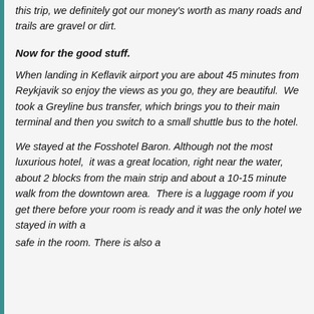this trip, we definitely got our money's worth as many roads and trails are gravel or dirt.
Now for the good stuff.
When landing in Keflavik airport you are about 45 minutes from Reykjavik so enjoy the views as you go, they are beautiful.  We took a Greyline bus transfer, which brings you to their main terminal and then you switch to a small shuttle bus to the hotel.
We stayed at the Fosshotel Baron.  Although not the most luxurious hotel,  it was a great location, right near the water, about 2 blocks from the main strip and about a 10-15 minute walk from the downtown area.  There is a luggage room if you get there before your room is ready and it was the only hotel we stayed in with a safe in the room.  There is also a